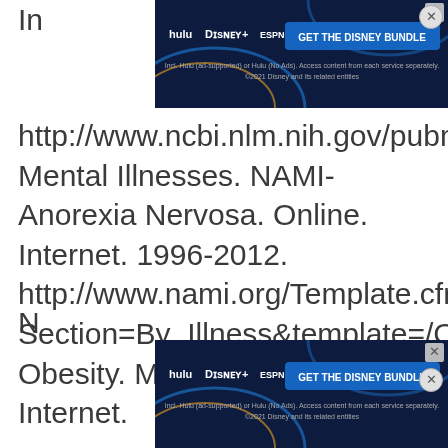[Figure (other): Disney Bundle advertisement banner at top of page showing Hulu, Disney+, ESPN+ logos with 'GET THE DISNEY BUNDLE' button]
http://www.ncbi.nlm.nih.gov/pubmedhealth/PMH0001441/. Mental Illnesses. NAMI- Anorexia Nervosa. Online. Internet. 1996-2012. http://www.nami.org/Template.cfm?Section=By_Illness&amp;template=/ContentManagement/ContentDisplay.cfm&amp;ContentID=7409. Obesity. Medline Plus. Online. Internet.
[Figure (other): Disney Bundle advertisement banner at bottom of page showing Hulu, Disney+, ESPN+ logos with 'GET THE DISNEY BUNDLE' button]